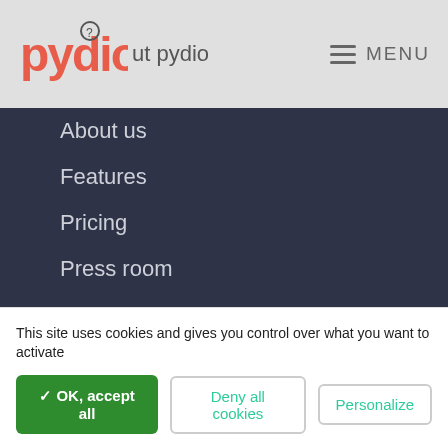pydio | About pydio | MENU
About us
Features
Pricing
Press room
Demo
Resources
This site uses cookies and gives you control over what you want to activate
✓ OK, accept all | Deny all cookies | Personalize